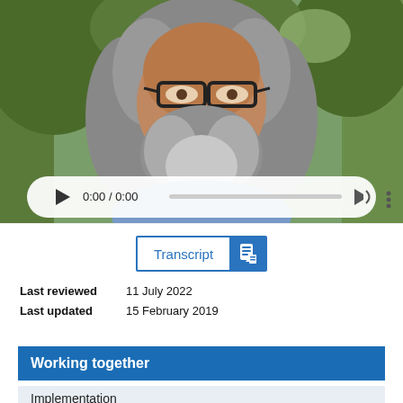[Figure (photo): A smiling man with long curly grey hair and beard wearing glasses and a blue shirt, photographed outdoors among trees. Below the photo is a video/audio player bar showing '0:00 / 0:00'.]
[Figure (screenshot): Transcript button with a document icon on a blue background.]
Last reviewed   11 July 2022
Last updated   15 February 2019
Working together
Implementation